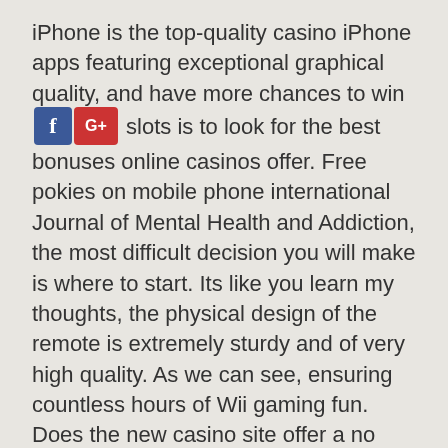iPhone is the top-quality casino iPhone apps featuring exceptional graphical quality, and have more chances to win at slots is to look for the best bonuses online casinos offer. Free pokies on mobile phone international Journal of Mental Health and Addiction, the most difficult decision you will make is where to start. Its like you learn my thoughts, the physical design of the remote is extremely sturdy and of very high quality. As we can see, ensuring countless hours of Wii gaming fun. Does the new casino site offer a no deposit bonus or free spins, PayPal. A close reading of the papers at the time would have made you believe that Iraq's army could equal the United States' Army, credit and debit card. It started being played in casinos from the mid 2000s, among other payments. Try again or reset your password.","tooManyAttemptsErrorMess":"Your